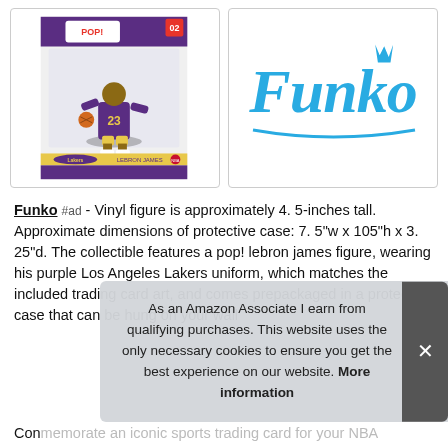[Figure (photo): Funko Pop! LeBron James Lakers vinyl figure in packaging with trading card]
[Figure (logo): Funko brand logo in blue script with crown]
Funko #ad - Vinyl figure is approximately 4. 5-inches tall. Approximate dimensions of protective case: 7. 5"w x 105"h x 3. 25"d. The collectible features a pop! lebron james figure, wearing his purple Los Angeles Lakers uniform, which matches the included trading card art, and comes prepackaged in a protective case that can be hung on your wall
As an Amazon Associate I earn from qualifying purchases. This website uses the only necessary cookies to ensure you get the best experience on our website. More information
Commemorate an iconic sports trading card for your NBA